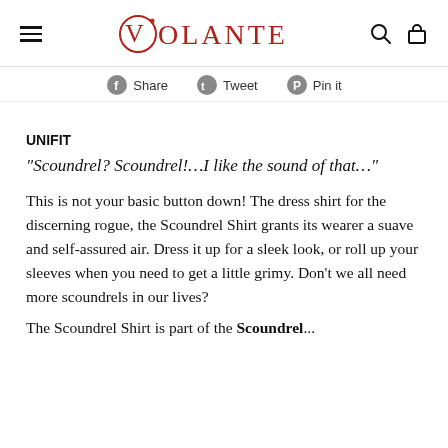VOLANTE
Share  Tweet  Pin It
UNIFIT
“Scoundrel? Scoundrel!…I like the sound of that…”
This is not your basic button down! The dress shirt for the discerning rogue, the Scoundrel Shirt grants its wearer a suave and self-assured air. Dress it up for a sleek look, or roll up your sleeves when you need to get a little grimy. Don’t we all need more scoundrels in our lives?
The Scoundrel Shirt is part of the Scoundrel...